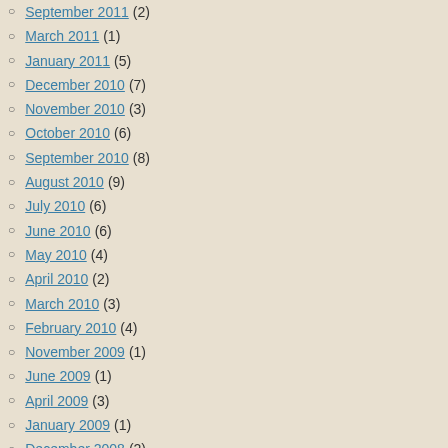September 2011 (2)
March 2011 (1)
January 2011 (5)
December 2010 (7)
November 2010 (3)
October 2010 (6)
September 2010 (8)
August 2010 (9)
July 2010 (6)
June 2010 (6)
May 2010 (4)
April 2010 (2)
March 2010 (3)
February 2010 (4)
November 2009 (1)
June 2009 (1)
April 2009 (3)
January 2009 (1)
December 2008 (2)
November 2008 (2)
August 2008 (1)
June 2008 (2)
May 2008 (2)
registry. The Kana‘iolowalu registry... political entity affirming the “unrelin... but the overwhelming number of na... without permission and based sole...
See the detailed essay at http://tinyurl.com/qb3ch29
Tags: ethnic nationalism, Hawaii racial re... separatism